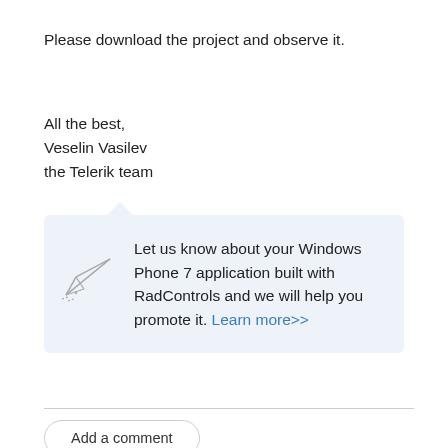Please download the project and observe it.
All the best,
Veselin Vasilev
the Telerik team
[Figure (infographic): Light blue rounded promotional box with a paper airplane icon on the left and text: 'Let us know about your Windows Phone 7 application built with RadControls and we will help you promote it. Learn more>>']
Add a comment
0